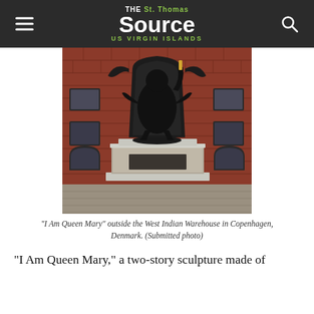THE St. Thomas Source US VIRGIN ISLANDS
[Figure (photo): A large black bronze statue of a seated woman titled 'I Am Queen Mary' on a stone and concrete pedestal, set against a red brick building exterior, photographed in Copenhagen, Denmark.]
"I Am Queen Mary" outside the West Indian Warehouse in Copenhagen, Denmark. (Submitted photo)
"I Am Queen Mary," a two-story sculpture made of